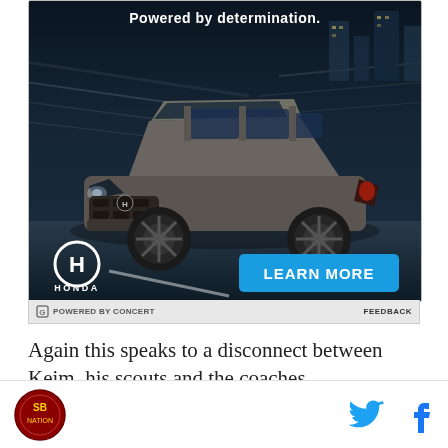[Figure (photo): Honda SUV advertisement. Dark blue background with speed lines. A gray Honda SUV (CR-V or similar) is shown driving. Text at top reads 'Powered by determination.' Honda H logo and HONDA wordmark bottom left. Blue 'LEARN MORE' button bottom right.]
POWERED BY CONCERT   FEEDBACK
Again this speaks to a disconnect between Keim, his scouts and the coaches
[Figure (logo): Circular red sports site logo bottom left]
[Figure (illustration): Twitter bird icon (blue) and Facebook f icon (blue) social sharing buttons]